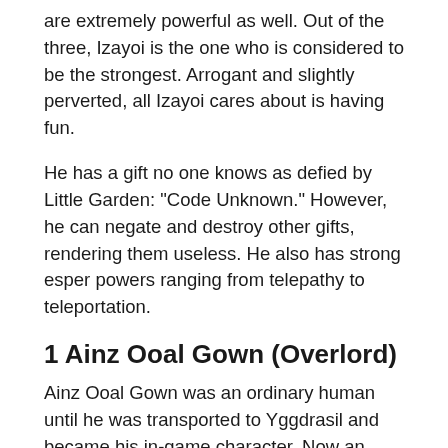are extremely powerful as well. Out of the three, Izayoi is the one who is considered to be the strongest. Arrogant and slightly perverted, all Izayoi cares about is having fun.
He has a gift no one knows as defied by Little Garden: "Code Unknown." However, he can negate and destroy other gifts, rendering them useless. He also has strong esper powers ranging from telepathy to teleportation.
1 Ainz Ooal Gown (Overlord)
Ainz Ooal Gown was an ordinary human until he was transported to Yggdrasil and became his in-game character. Now an Overlord class, one that has no human emotions, Ainz is perhaps the coldest isekai protagonist out there.